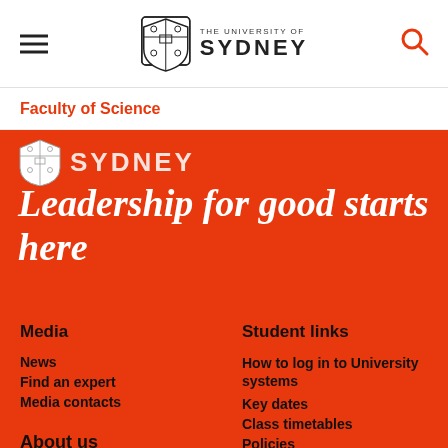THE UNIVERSITY OF SYDNEY
Faculty of Science
[Figure (logo): University of Sydney shield logo with SYDNEY text in red section]
Leadership for good starts here
Media
News
Find an expert
Media contacts
Student links
How to log in to University systems
Key dates
Class timetables
Policies
About us
Connect